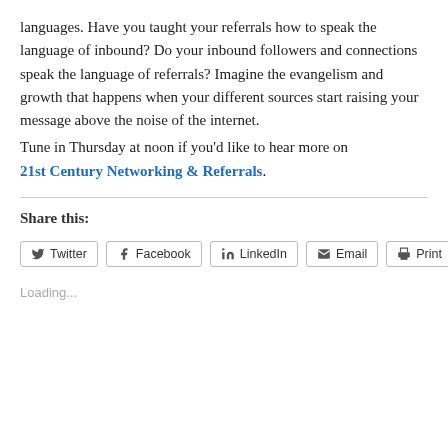languages. Have you taught your referrals how to speak the language of inbound? Do your inbound followers and connections speak the language of referrals? Imagine the evangelism and growth that happens when your different sources start raising your message above the noise of the internet.
Tune in Thursday at noon if you'd like to hear more on 21st Century Networking & Referrals.
Share this:
Twitter | Facebook | LinkedIn | Email | Print
Loading...